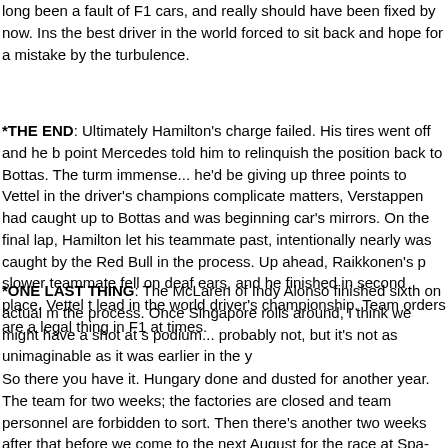long been a fault of F1 cars, and really should have been fixed by now. Ins the best driver in the world forced to sit back and hope for a mistake by the turbulence.
*THE END: Ultimately Hamilton's charge failed. His tires went off and he b point Mercedes told him to relinquish the position back to Bottas. The turm immense... he'd be giving up three points to Vettel in the driver's champions complicate matters, Verstappen had caught up to Bottas and was beginning car's mirrors. On the final lap, Hamilton let his teammate past, intentionally nearly was caught by the Red Bull in the process. Up ahead, Raikkonen's p slower teammate fell on deaf ears, and he finished in second place. Vettel t lead in the world driver's championship. Team orders are a legal thing in F1 at times.
*ONE LAST THING: The McLaren of Indy Alonso finished sixth on actual m the process. Once Singapore rolls around, I think we might have a shot at s podium... probably not, but it's not as unimaginable as it was earlier in the y
So there you have it. Hungary done and dusted for another year. The team for two weeks; the factories are closed and team personnel are forbidden to sort. Then there's another two weeks after that before we come to the next August for the race at Spa-Francopants!